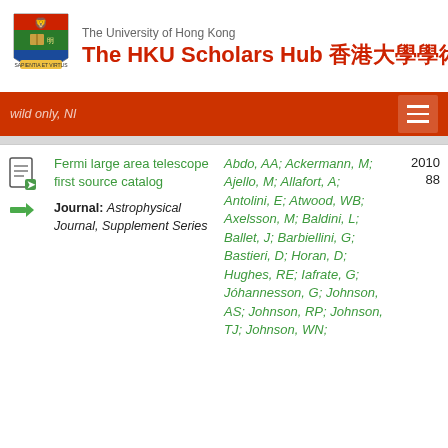[Figure (logo): University of Hong Kong shield crest logo]
The University of Hong Kong
The HKU Scholars Hub 香港大學學術庫
wild only, NI
| Title/Journal | Authors | Year | Cited |
| --- | --- | --- | --- |
| Fermi large area telescope first source catalog
Journal: Astrophysical Journal, Supplement Series | Abdo, AA; Ackermann, M; Ajello, M; Allafort, A; Antolini, E; Atwood, WB; Axelsson, M; Baldini, L; Ballet, J; Barbiellini, G; Bastieri, D; Horan, D; Hughes, RE; Iafrate, G; Jóhannesson, G; Johnson, AS; Johnson, RP; Johnson, TJ; Johnson, WN; | 2010 | 88 |